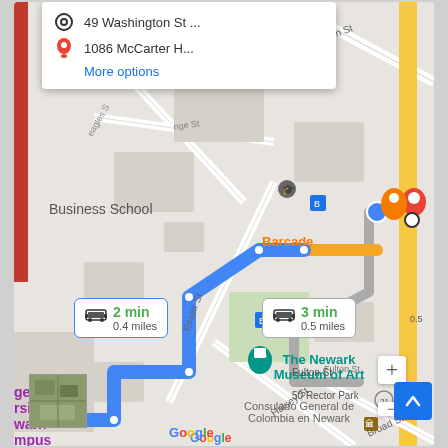[Figure (map): Google Maps screenshot showing driving directions in Newark, NJ. Two routes displayed: one via blue highlighted path (2 min, 0.4 miles) and another (3 min, 0.5 miles). Origin: 49 Washington St, Destination: 1086 McCarter H... Landmarks include Business School, Barcade, The Newark Museum of Art, Consulado General de Colombia en Newark, Rutgers University Newark Campus. Streets include Division St, Essex St, Halsey St, Broad St, Fulton St. Map includes zoom controls and Google logo.]